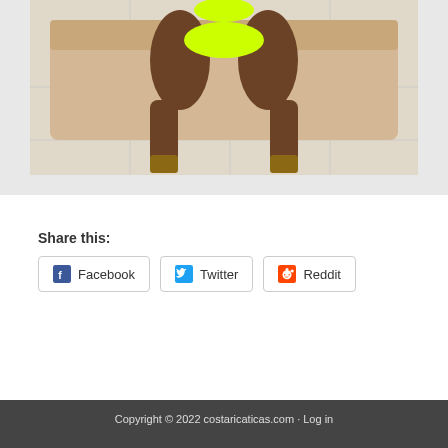[Figure (photo): A person seated on a beige sofa wearing a neon yellow bikini, photographed from torso down, with tile floor visible]
Share this:
Facebook  Twitter  Reddit
Copyright © 2022 costaricaticas.com · Log in